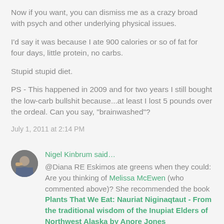Now if you want, you can dismiss me as a crazy broad with psych and other underlying physical issues.
I'd say it was because I ate 900 calories or so of fat for four days, little protein, no carbs.
Stupid stupid diet.
PS - This happened in 2009 and for two years I still bought the low-carb bullshit because...at least I lost 5 pounds over the ordeal. Can you say, "brainwashed"?
July 1, 2011 at 2:14 PM
Nigel Kinbrum said...
@Diana RE Eskimos ate greens when they could:
Are you thinking of Melissa McEwen (who commented above)? She recommended the book Plants That We Eat: Nauriat Niginaqtaut - From the traditional wisdom of the Inupiat Elders of Northwest Alaska by Anore Jones